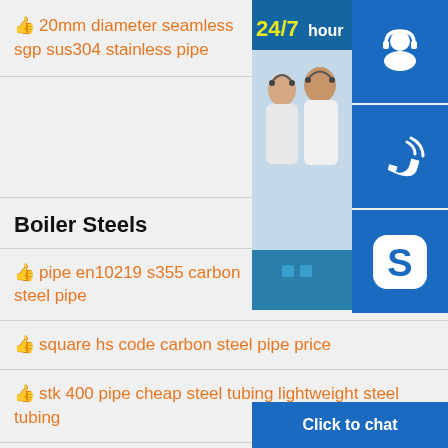20mm diameter seamless sgp sus304 stainless pipe
Boiler Steels
pipe en10219 s355 carbon steel pipe
square hs code carbon steel pipe price
stk 400 pipe cheap steel tubing lightweight steel tubing
[Figure (infographic): Customer service chat widget showing 24/7 hour label over a photo of customer service representatives with headsets, and three blue icon buttons (headset/support icon, phone icon, Skype icon) and a 'Click to chat' bar at the bottom.]